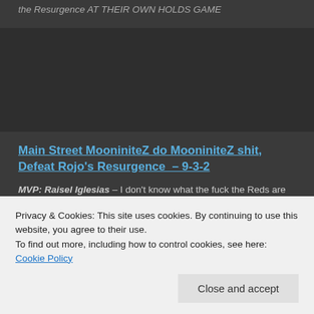the Resurgence AT THEIR OWN HOLDS GAME
[Figure (photo): Dark image area, mostly black/dark gray]
Main Street MooniniteZ do MooniniteZ shit, Defeat Rojo's Resurgence  – 9-3-2
MVP: Raisel Iglesias – I don't know what the fuck the Reds are doing with this man but AT LEAST he can't be touched out of
Privacy & Cookies: This site uses cookies. By continuing to use this website, you agree to their use.
To find out more, including how to control cookies, see here: Cookie Policy
4/25, 4 runs .192 OBP and nada thing else.